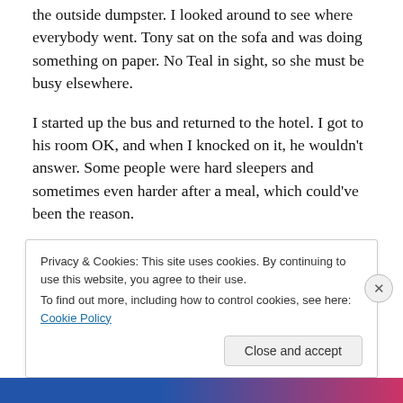the outside dumpster. I looked around to see where everybody went. Tony sat on the sofa and was doing something on paper. No Teal in sight, so she must be busy elsewhere.
I started up the bus and returned to the hotel. I got to his room OK, and when I knocked on it, he wouldn't answer. Some people were hard sleepers and sometimes even harder after a meal, which could've been the reason.
The cleaning lady came around, and after I slipped her a fifty, she opened the room for me. He lay sprawled out on
Privacy & Cookies: This site uses cookies. By continuing to use this website, you agree to their use.
To find out more, including how to control cookies, see here: Cookie Policy